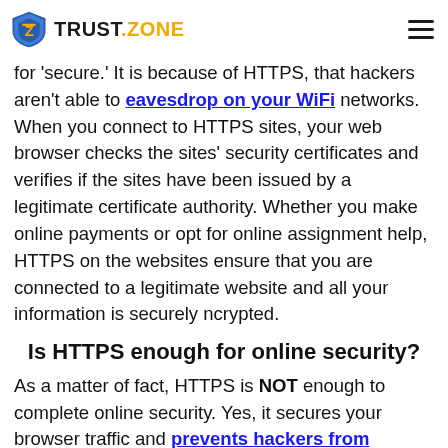TRUST.ZONE
for 'secure.' It is because of HTTPS, that hackers aren't able to eavesdrop on your WiFi networks. When you connect to HTTPS sites, your web browser checks the sites' security certificates and verifies if the sites have been issued by a legitimate certificate authority. Whether you make online payments or opt for online assignment help, HTTPS on the websites ensure that you are connected to a legitimate website and all your information is securely ncrypted.
Is HTTPS enough for online security?
As a matter of fact, HTTPS is NOT enough to complete online security. Yes, it secures your browser traffic and prevents hackers from eavesdropping. But, hackers are also getting smarter every day. You need a stronger encryption technology such as VPN to deal with the cyber attacks.